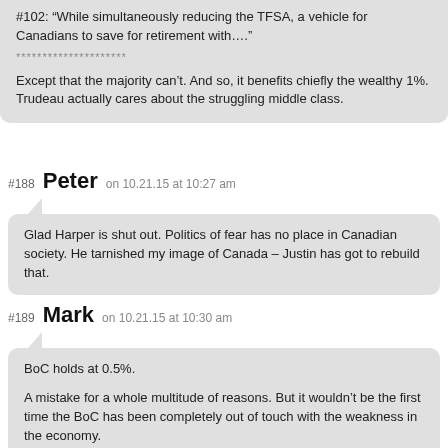#102: “While simultaneously reducing the TFSA, a vehicle for Canadians to save for retirement with….”
*********************
Except that the majority can’t. And so, it benefits chiefly the wealthy 1%. Trudeau actually cares about the struggling middle class.
#188 Peter on 10.21.15 at 10:27 am
Glad Harper is shut out. Politics of fear has no place in Canadian society. He tarnished my image of Canada – Justin has got to rebuild that.
#189 Mark on 10.21.15 at 10:30 am
BoC holds at 0.5%.

A mistake for a whole multitude of reasons. But it wouldn’t be the first time the BoC has been completely out of touch with the weakness in the economy.